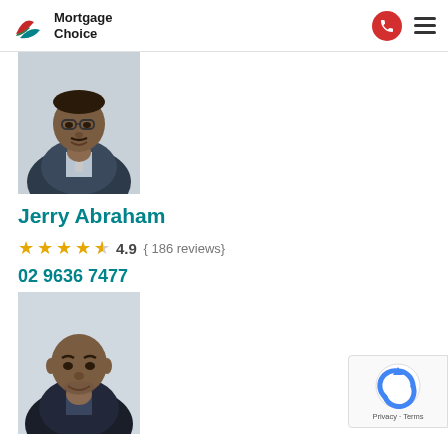Mortgage Choice
[Figure (photo): Portrait photo of Jerry Abraham in a suit]
Jerry Abraham
4.9 (186 reviews)
02 9636 7477
[Figure (photo): Portrait photo of Shree Regmi in a dark suit]
Shree Regmi
[Figure (logo): reCAPTCHA badge with Privacy and Terms links]